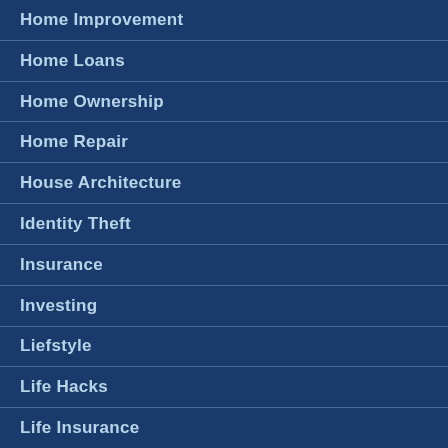Home Improvement
Home Loans
Home Ownership
Home Repair
House Architecture
Identity Theft
Insurance
Investing
Liefstyle
Life Hacks
Life Insurance